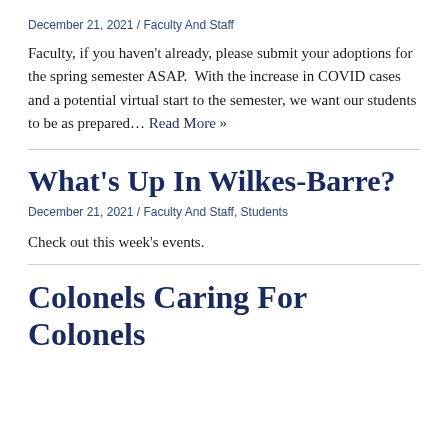December 21, 2021  /  Faculty And Staff
Faculty, if you haven't already, please submit your adoptions for the spring semester ASAP.  With the increase in COVID cases and a potential virtual start to the semester, we want our students to be as prepared… Read More »
What's Up In Wilkes-Barre?
December 21, 2021  /  Faculty And Staff, Students
Check out this week's events.
Colonels Caring For Colonels